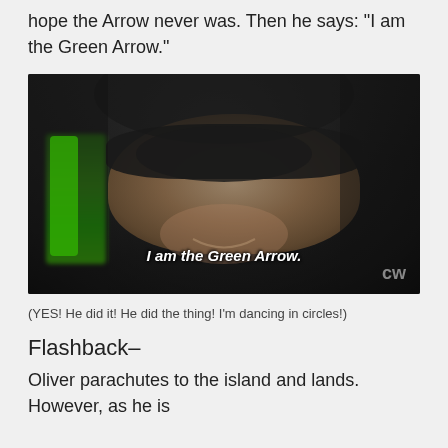hope the Arrow never was. Then he says: "I am the Green Arrow."
[Figure (screenshot): Screenshot from the CW TV show Arrow showing a masked hooded figure with subtitle text 'I am the Green Arrow.' and CW network logo in the corner.]
(YES! He did it! He did the thing! I'm dancing in circles!)
Flashback–
Oliver parachutes to the island and lands. However, as he is